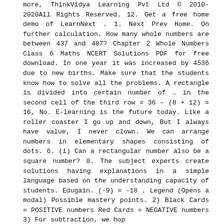more, ThinkVidya Learning Pvt Ltd © 2010-2020All Rights Reserved. 12. Get a free home demo of LearnNext . 1. Next Prev Home. On further calculation. How many whole numbers are between 437 and 487? Chapter 2 Whole Numbers Class 6 Maths NCERT Solutions PDF for free download. In one year it was increased by 4536 due to new births. Make sure that the students know how to solve all the problems. A rectangle is divided into certain number of … in the second cell of the third row = 36 – (8 + 12) = 16, No. E-learning is the future today. Like a roller coaster I go up and down, But I always have value, I never clown. We can arrange numbers in elementary shapes consisting of dots. 6. (i) Can a rectangular number also be a square number? 0. The subject experts create solutions having explanations in a simple language based on the understanding capacity of students. Edugain. (-9) = -18 . Legend (Opens a modal) Possible mastery points. 2) Black Cards = POSITIVE numbers Red Cards = NEGATIVE numbers 3) For subtraction, we hop